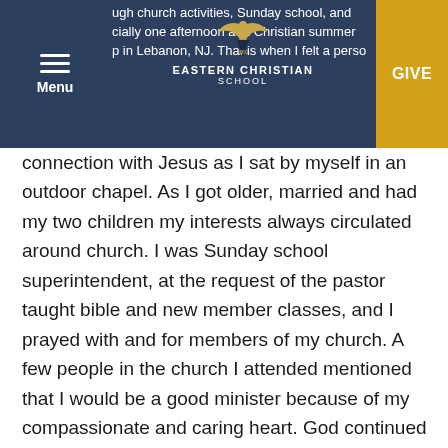Eastern Christian School — Menu / Give header with partial text: ugh church activities, Sunday school, and cially one afternoon at a Christian summer p in Lebanon, NJ. That is when I felt a perso
connection with Jesus as I sat by myself in an outdoor chapel. As I got older, married and had my two children my interests always circulated around church. I was Sunday school superintendent, at the request of the pastor taught bible and new member classes, and I prayed with and for members of my church. A few people in the church I attended mentioned that I would be a good minister because of my compassionate and caring heart. God continued to pursue me and I found myself entering Bible college at the age of forty-seven. I knew I was on the path God wanted me on. I went on to receive a Master of Divinity and years